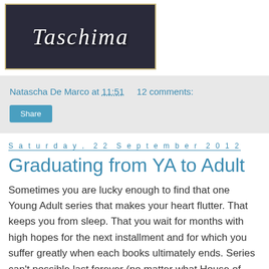[Figure (logo): Blog header image with stylized cursive text 'Taschima' on a dark background with blurred books]
Natascha De Marco at 11:51   12 comments:
Share
Saturday, 22 September 2012
Graduating from YA to Adult
Sometimes you are lucky enough to find that one Young Adult series that makes your heart flutter. That keeps you from sleep. That you wait for months with high hopes for the next installment and for which you suffer greatly when each books ultimately ends. Series can't possible last forever (no matter what House of Night might want to make you believe). At some point you are going to have to mourn the loss, and let go. Once that relationship is done however you might want to sink deep into a whole new world, and that is where I